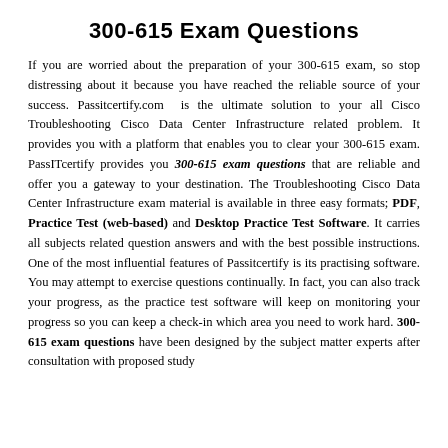300-615 Exam Questions
If you are worried about the preparation of your 300-615 exam, so stop distressing about it because you have reached the reliable source of your success. Passitcertify.com is the ultimate solution to your all Cisco Troubleshooting Cisco Data Center Infrastructure related problem. It provides you with a platform that enables you to clear your 300-615 exam. PassITcertify provides you 300-615 exam questions that are reliable and offer you a gateway to your destination. The Troubleshooting Cisco Data Center Infrastructure exam material is available in three easy formats; PDF, Practice Test (web-based) and Desktop Practice Test Software. It carries all subjects related question answers and with the best possible instructions. One of the most influential features of Passitcertify is its practising software. You may attempt to exercise questions continually. In fact, you can also track your progress, as the practice test software will keep on monitoring your progress so you can keep a check-in which area you need to work hard. 300-615 exam questions have been designed by the subject matter experts after consultation with proposed study